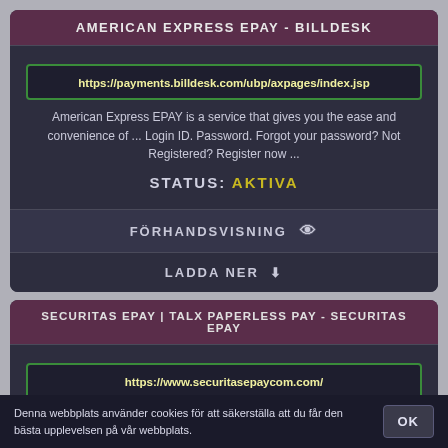AMERICAN EXPRESS EPAY - BILLDESK
https://payments.billdesk.com/ubp/axpages/index.jsp
American Express EPAY is a service that gives you the ease and convenience of ... Login ID. Password. Forgot your password? Not Registered? Register now ...
STATUS: AKTIVA
FÖRHANDSVISNING 👁
LADDA NER ⬇
SECURITAS EPAY | TALX PAPERLESS PAY - SECURITAS EPAY
https://www.securitasepaycom.com/
Denna webbplats använder cookies för att säkerställa att du får den bästa upplevelsen på vår webbplats.